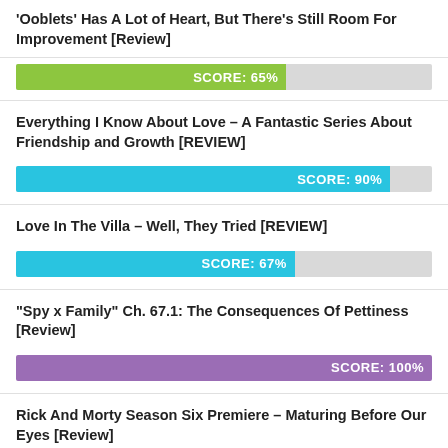'Ooblets' Has A Lot of Heart, But There's Still Room For Improvement [Review]
[Figure (bar-chart): Score bar]
Everything I Know About Love – A Fantastic Series About Friendship and Growth [REVIEW]
[Figure (bar-chart): Score bar]
Love In The Villa – Well, They Tried [REVIEW]
[Figure (bar-chart): Score bar]
“Spy x Family” Ch. 67.1: The Consequences Of Pettiness [Review]
[Figure (bar-chart): Score bar]
Rick And Morty Season Six Premiere – Maturing Before Our Eyes [Review]
[Figure (bar-chart): Score bar]
Prime Video’s “The Lord of the Rings: The Rings of Power” Is A Cinematic Feast for the Senses [Review]